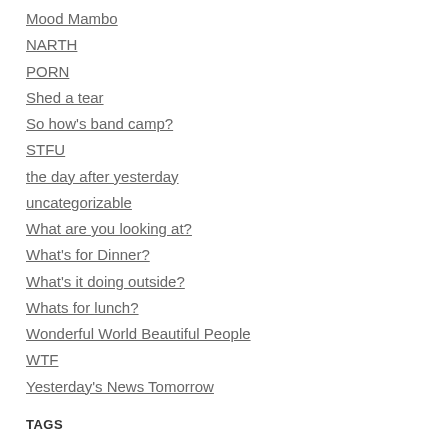Mood Mambo
NARTH
PORN
Shed a tear
So how's band camp?
STFU
the day after yesterday
uncategorizable
What are you looking at?
What's for Dinner?
What's it doing outside?
Whats for lunch?
Wonderful World Beautiful People
WTF
Yesterday's News Tomorrow
TAGS